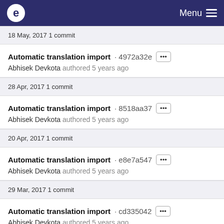e Menu
18 May, 2017 1 commit
Automatic translation import · 4972a32e
Abhisek Devkota authored 5 years ago
28 Apr, 2017 1 commit
Automatic translation import · 8518aa37
Abhisek Devkota authored 5 years ago
20 Apr, 2017 1 commit
Automatic translation import · e8e7a547
Abhisek Devkota authored 5 years ago
29 Mar, 2017 1 commit
Automatic translation import · cd335042
Abhisek Devkota authored 5 years ago
20 Mar, 2017 1 commit